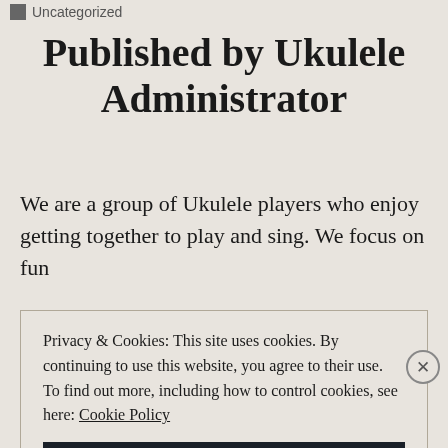Uncategorized
Published by Ukulele Administrator
We are a group of Ukulele players who enjoy getting together to play and sing. We focus on fun
Privacy & Cookies: This site uses cookies. By continuing to use this website, you agree to their use. To find out more, including how to control cookies, see here: Cookie Policy
Close and accept